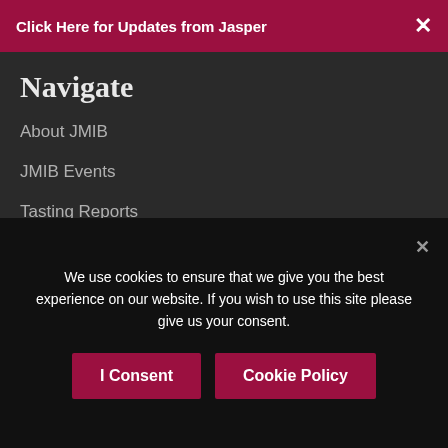Click Here for Updates from Jasper
Navigate
About JMIB
JMIB Events
Tasting Reports
Wine Database
Latest News
Inside Burgundy – The Book
Subscribe
We use cookies to ensure that we give you the best experience on our website. If you wish to use this site please give us your consent.
I Consent | Cookie Policy